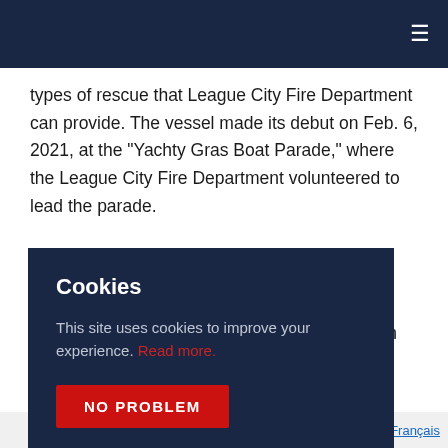Navigation bar with hamburger menu
types of rescue that League City Fire Department can provide. The vessel made its debut on Feb. 6, 2021, at the "Yachty Gras Boat Parade," where the League City Fire Department volunteered to lead the parade.
The Bayport vessel was designed for crew … rge cabin … rs. The … mple … onal for … Bay, the … a hamlet … hich also operates a Silver Ships fire rescue vessel.
Cookies

This site uses cookies to improve your experience. Read more.

NO PROBLEM
English   Español   Français